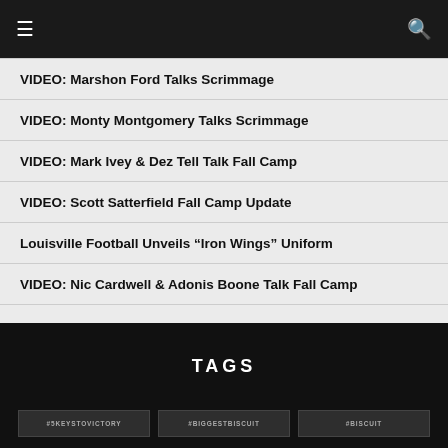≡  🔍
VIDEO: Marshon Ford Talks Scrimmage
VIDEO: Monty Montgomery Talks Scrimmage
VIDEO: Mark Ivey & Dez Tell Talk Fall Camp
VIDEO: Scott Satterfield Fall Camp Update
Louisville Football Unveils “Iron Wings” Uniform
VIDEO: Nic Cardwell & Adonis Boone Talk Fall Camp
TAGS
#5KEYSTOVICTORY
#BIGGESTBISCUIT
#BISCUIT